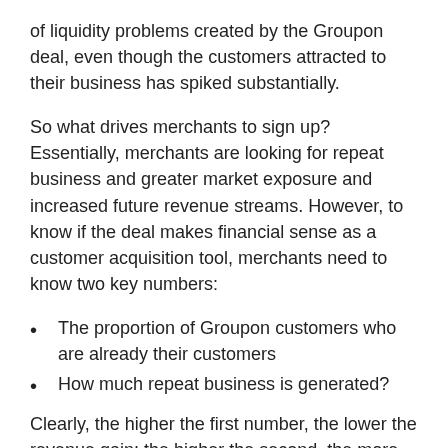of liquidity problems created by the Groupon deal, even though the customers attracted to their business has spiked substantially.
So what drives merchants to sign up? Essentially, merchants are looking for repeat business and greater market exposure and increased future revenue streams. However, to know if the deal makes financial sense as a customer acquisition tool, merchants need to know two key numbers:
The proportion of Groupon customers who are already their customers
How much repeat business is generated?
Clearly, the higher the first number, the lower the revenue gain; the higher the second, the more successful the deal will be. Groupon apparently is